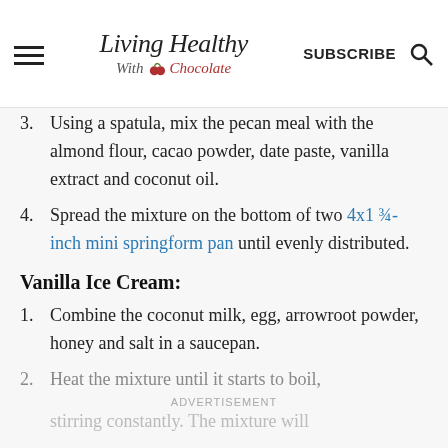Living Healthy With Chocolate — SUBSCRIBE
3. Using a spatula, mix the pecan meal with the almond flour, cacao powder, date paste, vanilla extract and coconut oil.
4. Spread the mixture on the bottom of two 4x1 ¾-inch mini springform pan until evenly distributed.
Vanilla Ice Cream:
1. Combine the coconut milk, egg, arrowroot powder, honey and salt in a saucepan.
2. Heat the mixture until it starts to boil, stirring constantly. The mixture will